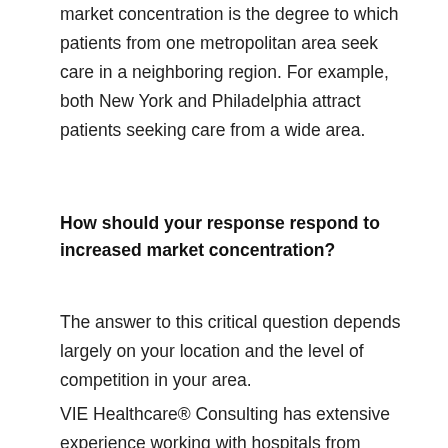…Another contributing factor to hospital market concentration is the degree to which patients from one metropolitan area seek care in a neighboring region. For example, both New York and Philadelphia attract patients seeking care from a wide area.
How should your response respond to increased market concentration?
The answer to this critical question depends largely on your location and the level of competition in your area.
VIE Healthcare® Consulting has extensive experience working with hospitals from every…